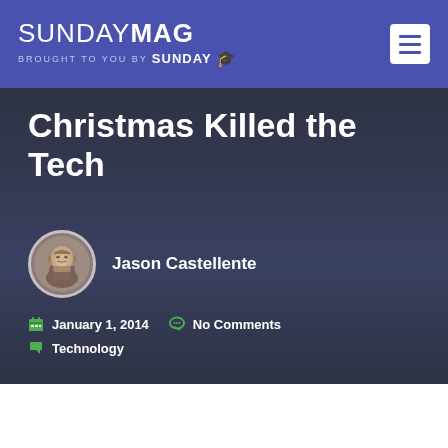SUNDAY MAG — brought to you by SUNDAY U
Christmas Killed the Tech
Jason Castellente
January 1, 2014   No Comments   Technology